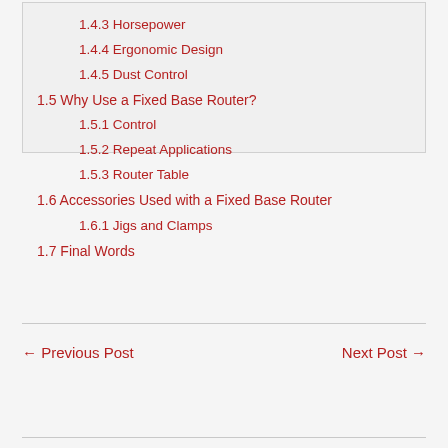1.4.3 Horsepower
1.4.4 Ergonomic Design
1.4.5 Dust Control
1.5 Why Use a Fixed Base Router?
1.5.1 Control
1.5.2 Repeat Applications
1.5.3 Router Table
1.6 Accessories Used with a Fixed Base Router
1.6.1 Jigs and Clamps
1.7 Final Words
← Previous Post
Next Post →